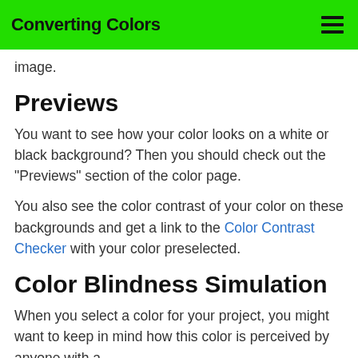Converting Colors
image.
Previews
You want to see how your color looks on a white or black background? Then you should check out the "Previews" section of the color page.
You also see the color contrast of your color on these backgrounds and get a link to the Color Contrast Checker with your color preselected.
Color Blindness Simulation
When you select a color for your project, you might want to keep in mind how this color is perceived by anyone with a